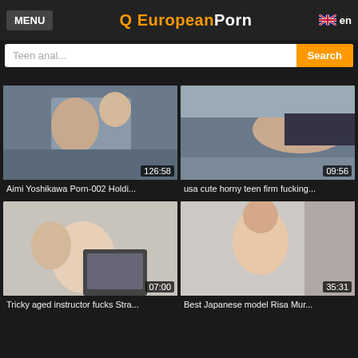MENU | Q EuropeanPorn | en
Teen anal... Search
[Figure (photo): Video thumbnail showing two people on a bed, duration 126:58]
Aimi Yoshikawa Porn-002 Holdi...
[Figure (photo): Video thumbnail showing a person lying on a bed, duration 09:56]
usa cute horny teen firm fucking...
[Figure (photo): Video thumbnail showing older man and young woman at desk, duration 07:00]
Tricky aged instructor fucks Stra...
[Figure (photo): Video thumbnail showing Japanese woman on phone, duration 35:31]
Best Japanese model Risa Mur...